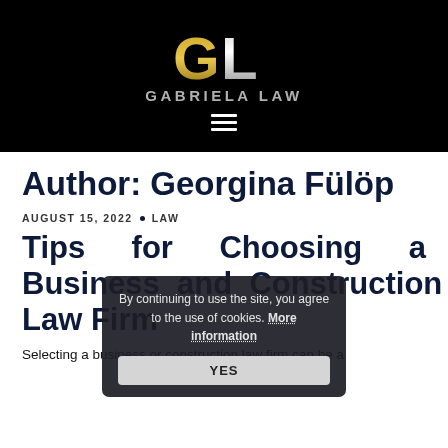[Figure (logo): Gabriela Law logo with golden GL monogram on black background and white text GABRIELA LAW]
GABRIELA LAW
Author: Georgina Fülöp
AUGUST 15, 2022 • LAW
Tips for Choosing a Business and Construction Law Firm
[Figure (screenshot): Cookie consent popup: By continuing to use the site, you agree to the use of cookies. More information [YES button]]
Selecting a business or construction law firm can be a